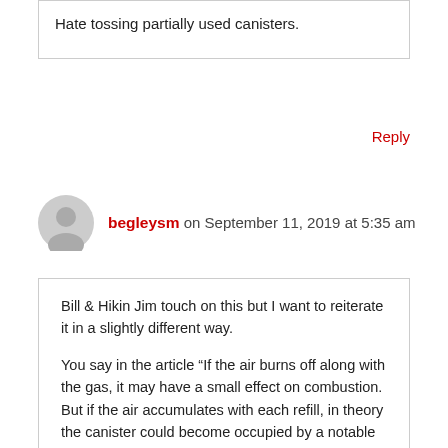Hate tossing partially used canisters.
Reply
begleysm on September 11, 2019 at 5:35 am
Bill & Hikin Jim touch on this but I want to reiterate it in a slightly different way.
You say in the article “If the air burns off along with the gas, it may have a small effect on combustion. But if the air accumulates with each refill, in theory the canister could become occupied by a notable amount of air over many, many refills.”
Air is lighter than butane vapor, propane vapor, and isobutane vapor. Therefore it will always be at the top with the fuel vapor below that and the liquid fuel